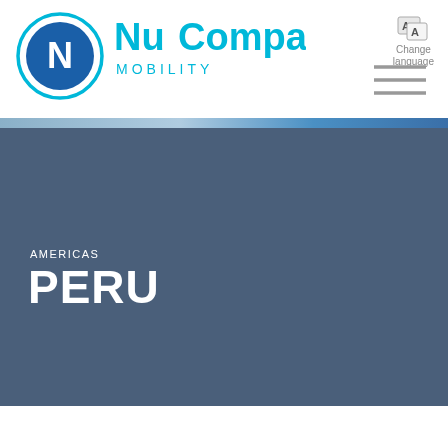[Figure (logo): NuCompass Mobility logo: circular N icon in cyan/blue with concentric rings, followed by NuCompass text in cyan and MOBILITY in smaller cyan letters]
Change language
[Figure (illustration): Three horizontal lines (hamburger menu icon) in grey]
[Figure (photo): Blue-grey hero background panel with slight image texture at the top edge showing partial photo]
AMERICAS
PERU